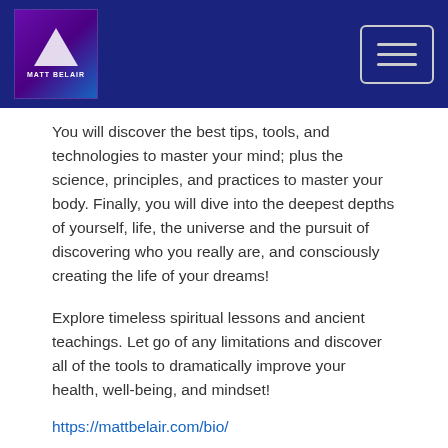Matt Belair logo and navigation header
You will discover the best tips, tools, and technologies to master your mind; plus the science, principles, and practices to master your body. Finally, you will dive into the deepest depths of yourself, life, the universe and the pursuit of discovering who you really are, and consciously creating the life of your dreams!
Explore timeless spiritual lessons and ancient teachings. Let go of any limitations and discover all of the tools to dramatically improve your health, well-being, and mindset!
https://mattbelair.com/bio/
May Love, Joy, Passion, Peace, and Prosperity fill your life! Namaste 🙏